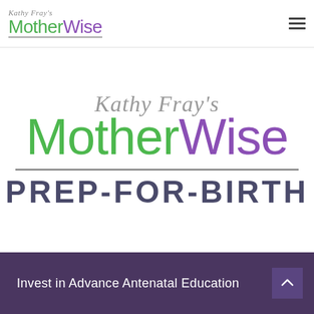[Figure (logo): Kathy Fray's MotherWise logo in navigation bar — small script 'Kathy Fray's' above 'MotherWise' in green and purple with underline, plus hamburger menu icon on right]
[Figure (logo): Large central logo: italic script 'Kathy Fray's' in gray above large 'MotherWise' text with 'Mother' in green and 'Wise' in purple, a horizontal divider line, then 'PREP-FOR-BIRTH' in dark navy bold caps]
Invest in Advance Antenatal Education